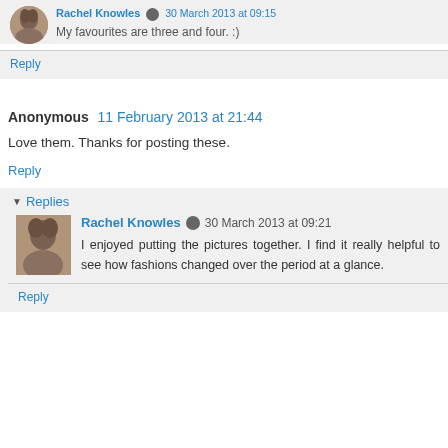Rachel Knowles [icon] 30 March 2013 at 09:15
My favourites are three and four. :)
Reply
Anonymous  11 February 2013 at 21:44
Love them. Thanks for posting these.
Reply
▼ Replies
Rachel Knowles [icon] 30 March 2013 at 09:21
I enjoyed putting the pictures together. I find it really helpful to see how fashions changed over the period at a glance.
Reply